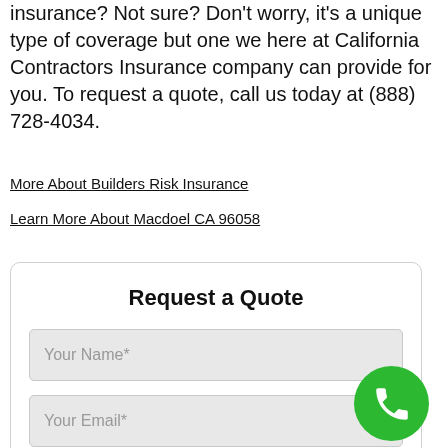insurance? Not sure? Don't worry, it's a unique type of coverage but one we here at California Contractors Insurance company can provide for you. To request a quote, call us today at (888) 728-4034.
More About Builders Risk Insurance
Learn More About Macdoel CA 96058
Request a Quote
Your Name*
Your Email*